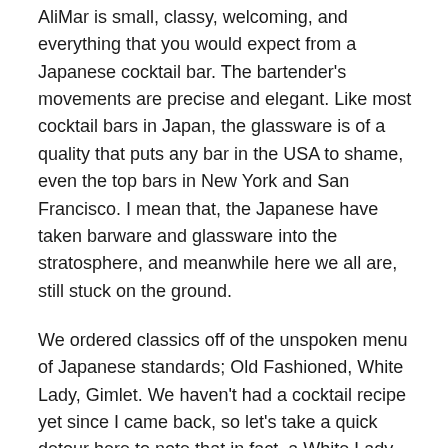AliMar is small, classy, welcoming, and everything that you would expect from a Japanese cocktail bar. The bartender's movements are precise and elegant. Like most cocktail bars in Japan, the glassware is of a quality that puts any bar in the USA to shame, even the top bars in New York and San Francisco. I mean that, the Japanese have taken barware and glassware into the stratosphere, and meanwhile here we all are, still stuck on the ground.
We ordered classics off of the unspoken menu of Japanese standards; Old Fashioned, White Lady, Gimlet. We haven't had a cocktail recipe yet since I came back, so let's take a quick detour here to note that in fact, a White Lady, which is not a very common drink in the States, is made like so: